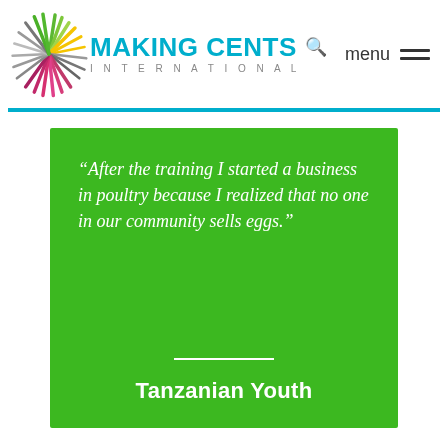MAKING CENTS INTERNATIONAL  menu
“After the training I started a business in poultry because I realized that no one in our community sells eggs.”
Tanzanian Youth